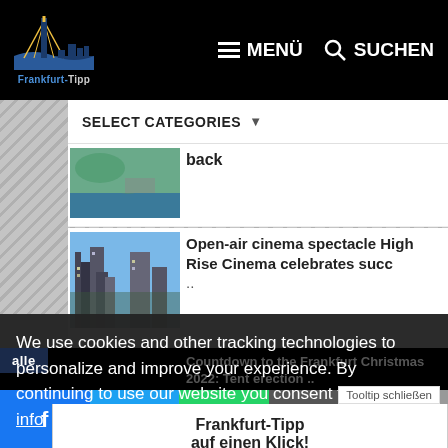[Figure (screenshot): Frankfurt-Tipp website header with logo, MENÜ and SUCHEN navigation buttons on black background]
SELECT CATEGORIES ▼
[Figure (photo): Aerial view of a park with crowds and river]
back
[Figure (photo): Frankfurt skyline with modern high-rise buildings]
Open-air cinema spectacle High Rise Cinema celebrates succ ..
Countdown to the Frankfurt Christmas 2022: Tent erection ..
We use cookies and other tracking technologies to personalize and improve your experience. By continuing to use our website you consent to this. More info
Tooltip schließen
Frankfurt-Tipp auf einen Klick!
Einfach auf das Symbol tippen und zum Home-Bildschirm hinzufügen.
alle